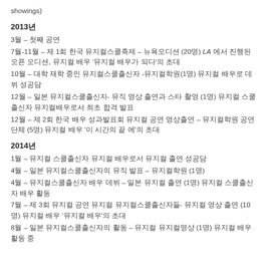showings)
2013년
3월 – 첫째 공연
7월-11월 – 제 1회 한국 뮤지컬스쿨축제 – 뉴욕오디션 (20명) LA 에서 진행된 오픈 오디션, 뮤지컬 배우 '뮤지컬 배우가 되다'의 초대
10월 – 대학 재학 중인 뮤지컬스쿨출신자 -뮤지컬학원(1명) 뮤지컬 배우로 데뷔 성공담
12월 – 일본 뮤지컬스쿨출신자- 뮤직 영상 출연과 스타 촬영 (1명) 뮤지컬 스쿨출신자 뮤지컬배우로서 최초 합격 발표
12월 – 제 2회 한국 배우 성과발표회 뮤지컬 공연 영상출연 – 뮤지컬학원 공연단체 (5명) 뮤지컬 배우 '이 시간의 끝 에'의 초대
2014년
1월 – 뮤지컬 스쿨출신자 뮤지컬 배우로서 뮤지컬 출연 성공담
4월 – 일본 뮤지컬스쿨출신자의 뮤직 발표 – 뮤지컬학원 (1명)
4월 – 뮤지컬스쿨출신자 배우 데뷔 – 일본 뮤지컬 출연 (1명) 뮤지컬 스쿨출신자 배우 활동
7월 – 제 3회 뮤지컬 공연 뮤지컬 뮤지컬스쿨출신자들- 뮤지컬 영상 출연 (10명) 뮤지컬 배우 '뮤지컬 배우'의 초대
8월 – 일본 뮤지컬스쿨출신자의 활동 – 뮤지컬 뮤지컬영상 (1명) 뮤지컬 배우 활동 중